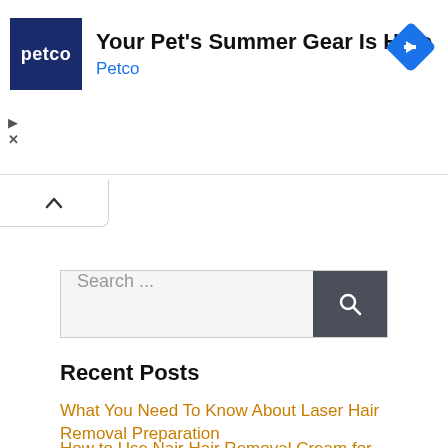[Figure (screenshot): Petco advertisement banner showing Petco logo (dark blue square with white 'petco' text), heading 'Your Pet's Summer Gear Is Here', brand name 'Petco' in blue, and a blue diamond navigation arrow icon on the right. Play and X (close) controls visible at bottom left.]
[Figure (other): Tab/chevron button with upward-pointing caret (^) on a white background with border]
[Figure (other): Search bar with placeholder text 'Search ...' and a dark gray search button with magnifying glass icon]
Recent Posts
What You Need To Know About Laser Hair Removal Preparation
How to Use Nair Hair Removal Cream for